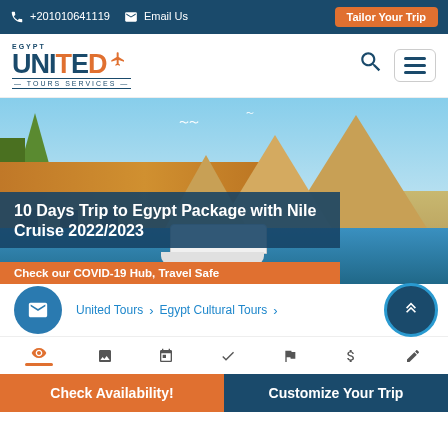+201010641119  Email Us  Tailor Your Trip
[Figure (logo): Egypt United Tours Services logo with orange and blue text]
[Figure (photo): Hero image showing Egyptian pyramids, Nile River with a cruise boat, palm trees and buildings]
10 Days Trip to Egypt Package with Nile Cruise 2022/2023
Check our COVID-19 Hub, Travel Safe
United Tours  ›  Egypt Cultural Tours  ›
[Figure (infographic): Tab icons bar: eye, image, calendar, checkmark, flag, dollar sign, edit]
Check Availability!
Customize Your Trip